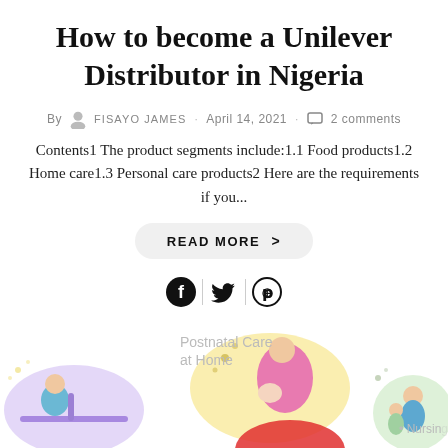How to become a Unilever Distributor in Nigeria
By FISAYO JAMES · April 14, 2021 · 2 comments
Contents1 The product segments include:1.1 Food products1.2 Home care1.3 Personal care products2 Here are the requirements if you...
READ MORE >
[Figure (illustration): Social media icons: Facebook, Twitter, Pinterest]
[Figure (illustration): Bottom preview images showing postnatal care and nursing article thumbnails]